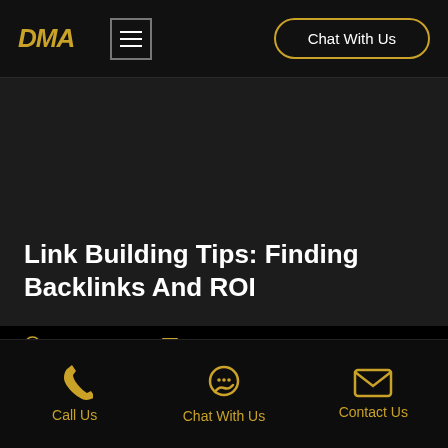DMA | Chat With Us
[Figure (screenshot): Dark hero image area, nearly black background for blog post header]
Link Building Tips: Finding Backlinks And ROI
July 18, 2022 · blog
Call Us | Chat With Us | Contact Us